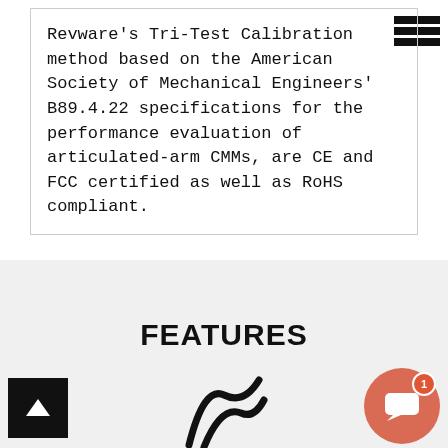Revware's Tri-Test Calibration method based on the American Society of Mechanical Engineers' B89.4.22 specifications for the performance evaluation of articulated-arm CMMs, are CE and FCC certified as well as RoHS compliant.
FEATURES
[Figure (illustration): Partial icon/logo arc shape visible at bottom of page]